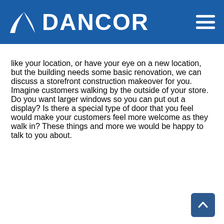DANCOR
like your location, or have your eye on a new location, but the building needs some basic renovation, we can discuss a storefront construction makeover for you. Imagine customers walking by the outside of your store. Do you want larger windows so you can put out a display? Is there a special type of door that you feel would make your customers feel more welcome as they walk in? These things and more we would be happy to talk to you about.